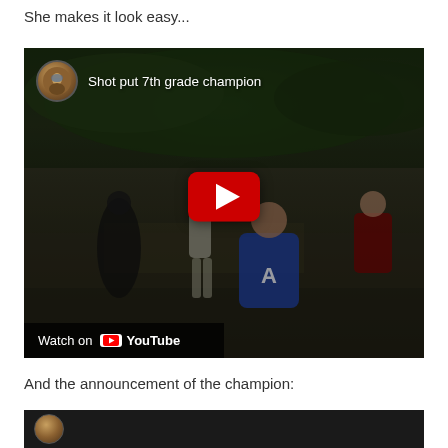She makes it look easy...
[Figure (screenshot): YouTube video embed showing 'Shot put 7th grade champion' with a play button overlay and 'Watch on YouTube' bar at the bottom. The video thumbnail shows athletes at an outdoor sports event.]
And the announcement of the champion:
[Figure (screenshot): Second YouTube video embed showing a circular avatar, partially visible at the bottom of the page.]